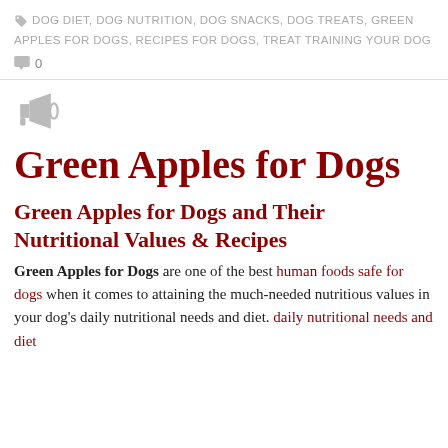DOG DIET, DOG NUTRITION, DOG SNACKS, DOG TREATS, GREEN APPLES FOR DOGS, RECIPES FOR DOGS, TREAT TRAINING YOUR DOG
0
[Figure (illustration): Megaphone/announcement icon in gray]
Green Apples for Dogs
Green Apples for Dogs and Their Nutritional Values & Recipes
Green Apples for Dogs are one of the best human foods safe for dogs when it comes to attaining the much-needed nutritious values in your dog's daily nutritional needs and diet. daily nutritional needs and diet